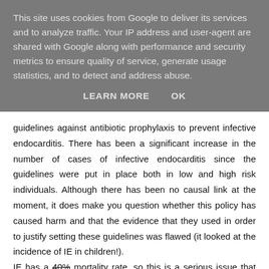This site uses cookies from Google to deliver its services and to analyze traffic. Your IP address and user-agent are shared with Google along with performance and security metrics to ensure quality of service, generate usage statistics, and to detect and address abuse.
LEARN MORE   OK
guidelines against antibiotic prophylaxis to prevent infective endocarditis. There has been a significant increase in the number of cases of infective endocarditis since the guidelines were put in place both in low and high risk individuals. Although there has been no causal link at the moment, it does make you question whether this policy has caused harm and that the evidence that they used in order to justify setting these guidelines was flawed (it looked at the incidence of IE in children!).
IE has a 40% mortality rate, so this is a serious issue that needs to be addressed - was this just a guideline to help save the NHS money?